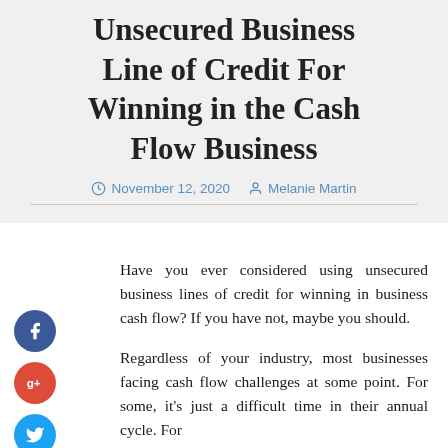Unsecured Business Line of Credit For Winning in the Cash Flow Business
November 12, 2020   Melanie Martin
Have you ever considered using unsecured business lines of credit for winning in business cash flow? If you have not, maybe you should.
Regardless of your industry, most businesses facing cash flow challenges at some point. For some, it's just a difficult time in their annual cycle. For